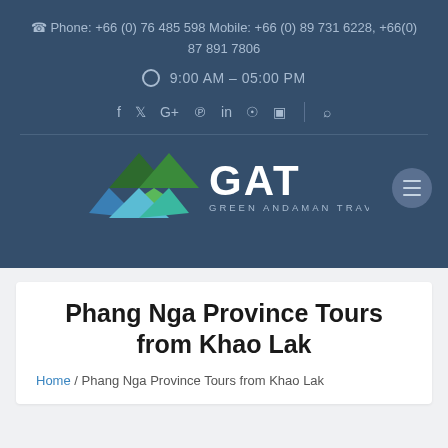Phone: +66 (0) 76 485 598 Mobile: +66 (0) 89 731 6228, +66(0) 87 891 7806
9:00 AM – 05:00 PM
[Figure (logo): GAT Green Andaman Travel logo with geometric mountain/diamond shape in green and blue]
Phang Nga Province Tours from Khao Lak
Home / Phang Nga Province Tours from Khao Lak